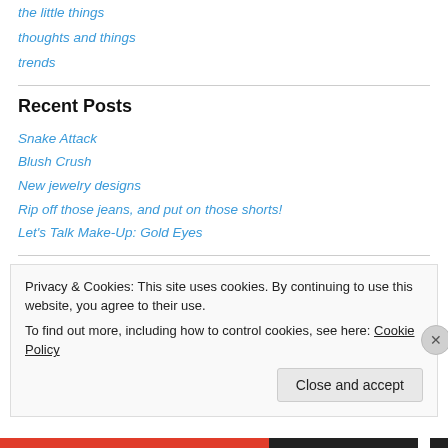the little things
thoughts and things
trends
Recent Posts
Snake Attack
Blush Crush
New jewelry designs
Rip off those jeans, and put on those shorts!
Let's Talk Make-Up: Gold Eyes
Privacy & Cookies: This site uses cookies. By continuing to use this website, you agree to their use. To find out more, including how to control cookies, see here: Cookie Policy